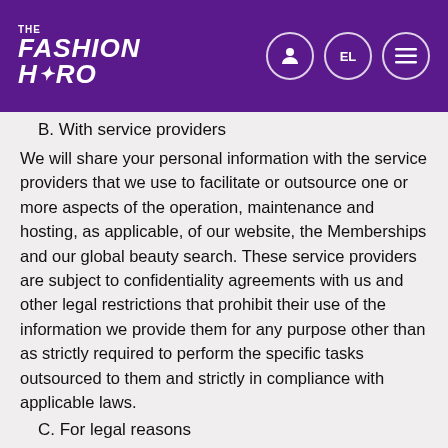THE FASHION HERO — navigation header with logo and icons
B. With service providers
We will share your personal information with the service providers that we use to facilitate or outsource one or more aspects of the operation, maintenance and hosting, as applicable, of our website, the Memberships and our global beauty search. These service providers are subject to confidentiality agreements with us and other legal restrictions that prohibit their use of the information we provide them for any purpose other than as strictly required to perform the specific tasks outsourced to them and strictly in compliance with applicable laws.
C. For legal reasons
We will share your personal information with companies, organizations, government entities, agencies or individuals if we have a good-faith belief that access, use, preservation or disclosure of the information is reasonably necessary to: (i) meet any applicable laws, to comply or enforce any applicable terms and